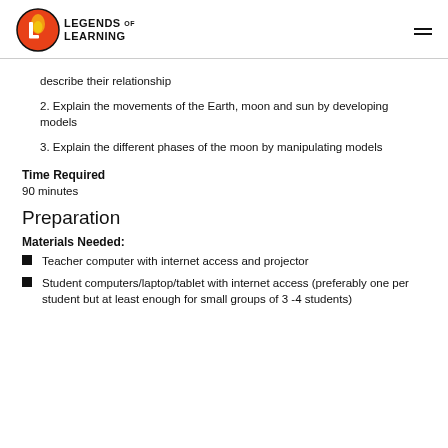Legends of Learning
describe their relationship
2. Explain the movements of the Earth, moon and sun by developing models
3. Explain the different phases of the moon by manipulating models
Time Required
90 minutes
Preparation
Materials Needed:
Teacher computer with internet access and projector
Student computers/laptop/tablet with internet access (preferably one per student but at least enough for small groups of 3 -4 students)